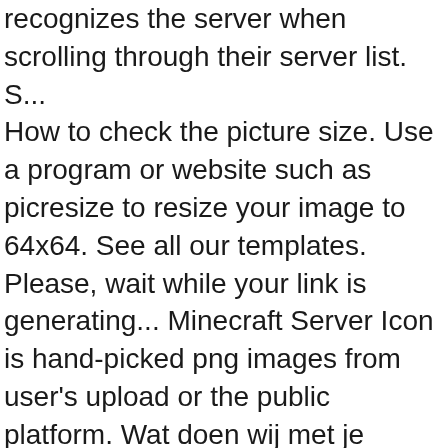recognizes the server when scrolling through their server list. S... How to check the picture size. Use a program or website such as picresize to resize your image to 64x64. See all our templates. Please, wait while your link is generating... Minecraft Server Icon is hand-picked png images from user's upload or the public platform. Wat doen wij met je gegevens, en wat slaan we op? Je kunt hier inloggen, of als je dat nog niet bent, registreren met je Github account. If none of this works, maybe try running a Bukkit server instead and see if that works? The image can be easily used for any free creative project. Click 6. Click 6. Designed to make your Minecraft server shine on the server icon list. 64x64 pixels, smooth edges. A high-quality creative community needs everyone's contribution. On the next page click "Browse" on the left hand side. On your Multicraft panel choose . Click the upload icon: Select the “server-icon.png” icon we created earlier. Although servers do not have a set server icon by default, all Shockbyte servers come with a pre-made icon as shown on the screenshot above. Access your server files via FTP Upload the image to the root directory of which is the folder containing the...